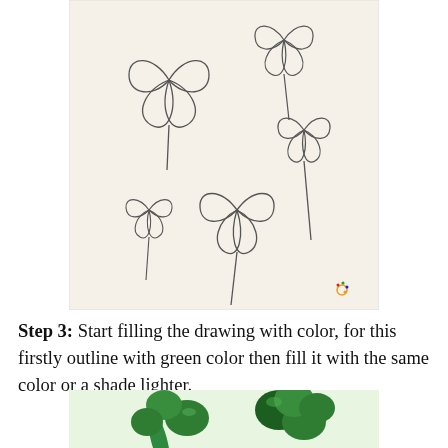[Figure (illustration): Pencil sketch drawing of multiple four-leaf clovers/shamrocks with stems on a light beige background, with a small colorful watermark in the bottom-right corner]
Step 3: Start filling the drawing with color, for this firstly outline with green color then fill it with the same color or a shade lighter.
[Figure (photo): Photograph showing green colored shamrocks/clover leaves, partially visible at the bottom of the page]